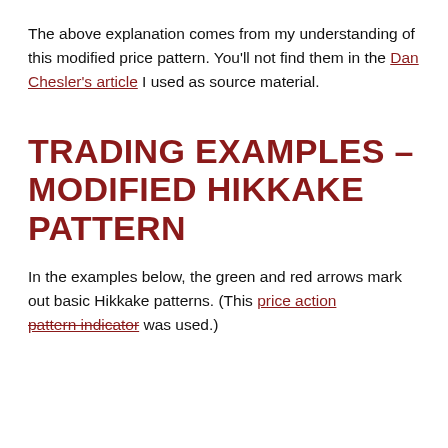The above explanation comes from my understanding of this modified price pattern. You'll not find them in the Dan Chesler's article I used as source material.
TRADING EXAMPLES – MODIFIED HIKKAKE PATTERN
In the examples below, the green and red arrows mark out basic Hikkake patterns. (This price action pattern indicator was used.)